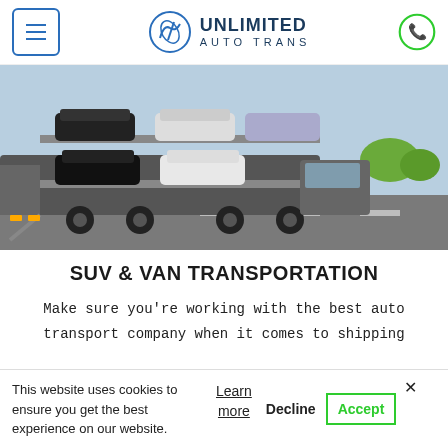[Figure (logo): Unlimited Auto Trans logo with circular emblem and hamburger menu icon]
[Figure (photo): Car carrier truck transporting multiple SUVs and vehicles on a highway]
SUV & VAN TRANSPORTATION
Make sure you're working with the best auto transport company when it comes to shipping
This website uses cookies to ensure you get the best experience on our website.
Learn more  Decline  Accept